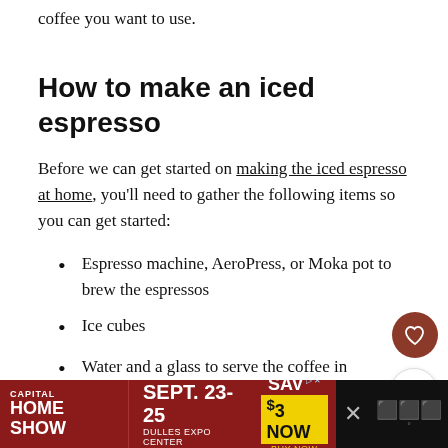coffee you want to use.
How to make an iced espresso
Before we can get started on making the iced espresso at home, you'll need to gather the following items so you can get started:
Espresso machine, AeroPress, or Moka pot to brew the espressos
Ice cubes
Water and a glass to serve the coffee in